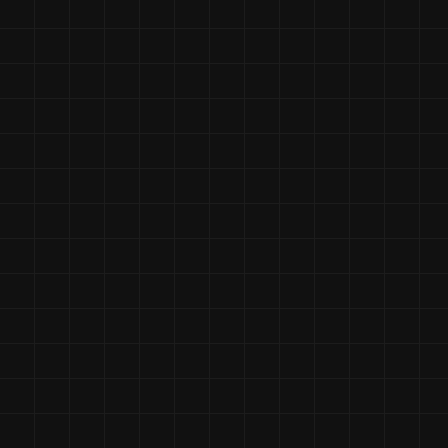multiple lesser foes with each attack. Ea...
-GoK Disciple now recharges shield quic...
-GoK Faerie cost reduced to M:81 E:162...
-GoK Faerie photon gun base damage ir...
-GoK Faerie photon gun now does full da...
-GoK Scourge durability reduced to 375 ...
-GoK Scourge void shield max charge re...
-GoK Scourge sight range reduced to 45...
-GoK Domina void bomb range increase...
-GoK Domina disruptor beam is now less...
-GoK Spectre durability reduced to 175 f...
-GoK Sea Dragon cost reduced to M:126...
-GoK Sea Dragon artillery blaster bad ta... structures.
Alpha 3 (1/23/2012)
New Features and Major Changes:
-Mod's name changed to TA Zero.
-Exc31.gp3 file replaced by TAZ31.gp3. R...
-Xpoy's updated ddraw.dll included in mo...
-Almost all explosion animations remade...
-Naval units for all factions are now avail...
-Arm Hammer artillery turret and GoK Do...
-All metal fabricators removed.
-Arm Longbow name changed to Watcht...
-All turrets now show their weapon cover... aerial targets.
-Factory build plates now snap to closest...